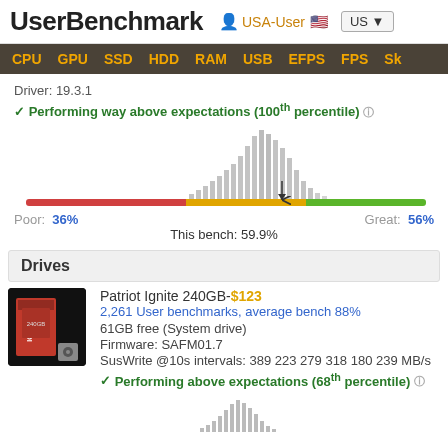UserBenchmark — USA-User — US
CPU  GPU  SSD  HDD  RAM  USB  EFPS  FPS  Sk
Driver: 19.3.1
✓ Performing way above expectations (100th percentile) ?
[Figure (histogram): Distribution histogram showing benchmark performance, bar chart with arrow at ~59.9%. Poor: 36%, Great: 56%, This bench: 59.9%]
Poor:  36%    Great:  56%
This bench: 59.9%
Drives
[Figure (photo): Patriot Ignite 240GB SSD product image, black casing with red label]
Patriot Ignite 240GB-$123
2,261 User benchmarks, average bench 88%
61GB free (System drive)
Firmware: SAFM01.7
SusWrite @10s intervals: 389 223 279 318 180 239 MB/s
✓ Performing above expectations (68th percentile) ?
[Figure (histogram): Mini distribution histogram at bottom for Patriot Ignite drive benchmark]